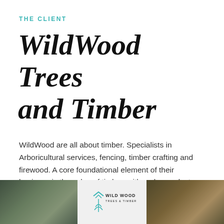THE CLIENT
WildWood Trees and Timber
WildWood are all about timber. Specialists in Arboricultural services, fencing, timber crafting and firewood. A core foundational element of their business is the value of timber, with no by-product wasted from their services, it is all recrafted and used to create something useful, beautiful, or both!
[Figure (photo): Photo of industrial timber/saw mill machinery interior, dark tones]
[Figure (logo): Wild Wood Trees & Timber logo with mountain/chevron icon and tree graphic]
[Figure (photo): Photo of large industrial warehouse or mill interior with green lighting]